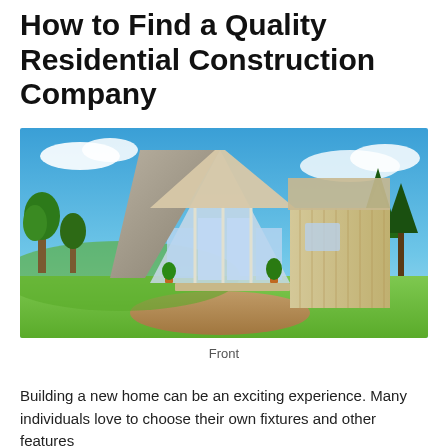How to Find a Quality Residential Construction Company
[Figure (photo): Architectural rendering of a modern residential home with large A-frame glass front facade, wood siding, surrounded by green trees and lawn, with a circular driveway, blue sky with clouds in background.]
Front
Building a new home can be an exciting experience. Many individuals love to choose their own fixtures and other features